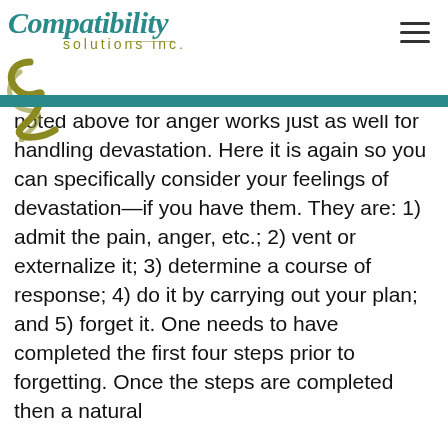[Figure (logo): Compatibility Solutions Inc. logo with teal italic text, olive/yellow-green 'solutions inc.' text, arrow line, and decorative squiggle]
noted above for anger works just as well for handling devastation. Here it is again so you can specifically consider your feelings of devastation—if you have them. They are: 1) admit the pain, anger, etc.; 2) vent or externalize it; 3) determine a course of response; 4) do it by carrying out your plan; and 5) forget it. One needs to have completed the first four steps prior to forgetting. Once the steps are completed then a natural